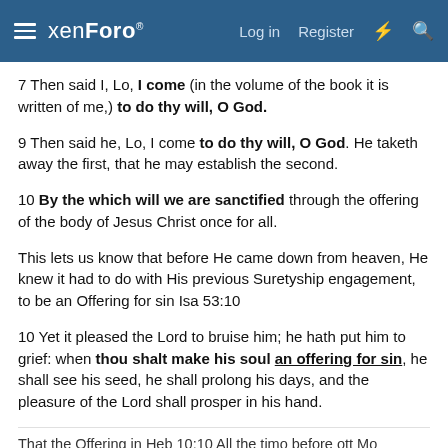xenForo — Log in  Register
7 Then said I, Lo, I come (in the volume of the book it is written of me,) to do thy will, O God.
9 Then said he, Lo, I come to do thy will, O God. He taketh away the first, that he may establish the second.
10 By the which will we are sanctified through the offering of the body of Jesus Christ once for all.
This lets us know that before He came down from heaven, He knew it had to do with His previous Suretyship engagement, to be an Offering for sin Isa 53:10
10 Yet it pleased the Lord to bruise him; he hath put him to grief: when thou shalt make his soul an offering for sin, he shall see his seed, he shall prolong his days, and the pleasure of the Lord shall prosper in his hand.
That the Offering in Heb 10:10 All the timo before ott Mo